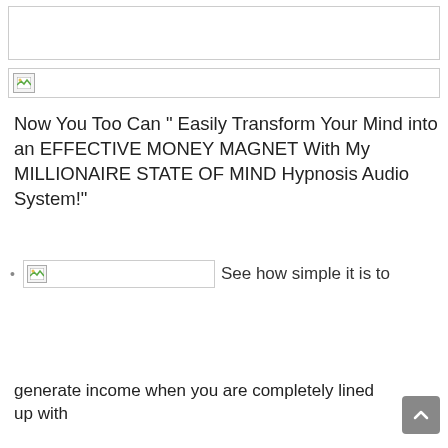[Figure (other): Empty white box with border at top of page]
[Figure (other): Broken image placeholder banner]
Now You Too Can “ Easily Transform Your Mind into an EFFECTIVE MONEY MAGNET With My MILLIONAIRE STATE OF MIND Hypnosis Audio System!”
See how simple it is to
generate income when you are completely lined up with